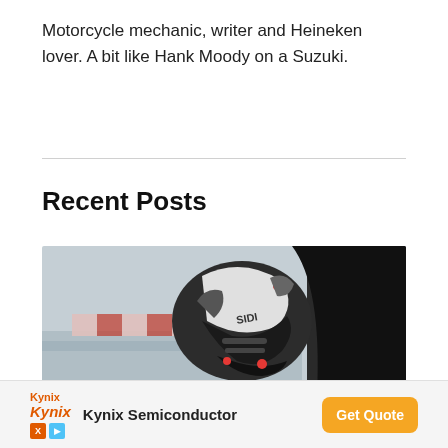Motorcycle mechanic, writer and Heineken lover. A bit like Hank Moody on a Suzuki.
Recent Posts
[Figure (photo): Close-up photo of a motorcycle racer's leg in black and white racing boots and gear, positioned near the motorcycle fairing on a racetrack.]
[Figure (other): Advertisement banner: Kynix Semiconductor with 'Get Quote' button in orange.]